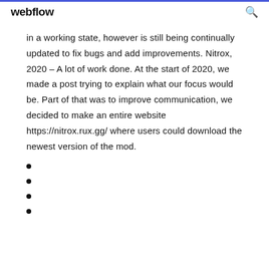webflow
in a working state, however is still being continually updated to fix bugs and add improvements. Nitrox, 2020 – A lot of work done. At the start of 2020, we made a post trying to explain what our focus would be. Part of that was to improve communication, we decided to make an entire website https://nitrox.rux.gg/ where users could download the newest version of the mod.